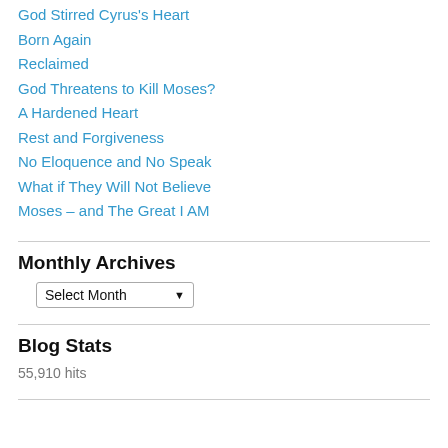God Stirred Cyrus's Heart
Born Again
Reclaimed
God Threatens to Kill Moses?
A Hardened Heart
Rest and Forgiveness
No Eloquence and No Speak
What if They Will Not Believe
Moses – and The Great I AM
Monthly Archives
Select Month
Blog Stats
55,910 hits